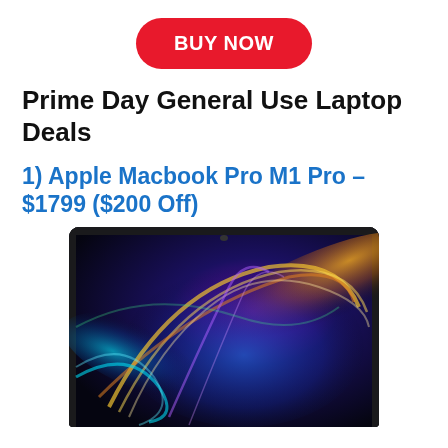[Figure (other): Red pill-shaped BUY NOW button centered at top]
Prime Day General Use Laptop Deals
1) Apple Macbook Pro M1 Pro – $1799 ($200 Off)
[Figure (photo): Apple MacBook Pro laptop screen showing colorful abstract swirling light streaks on dark background, dark metallic bezel visible around screen]